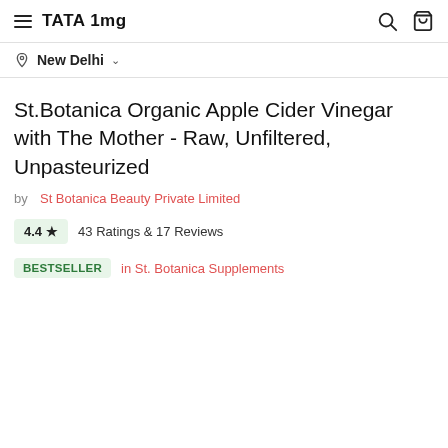TATA 1mg — New Delhi
St.Botanica Organic Apple Cider Vinegar with The Mother - Raw, Unfiltered, Unpasteurized
by St Botanica Beauty Private Limited
4.4 ★ 43 Ratings & 17 Reviews
BESTSELLER in St. Botanica Supplements